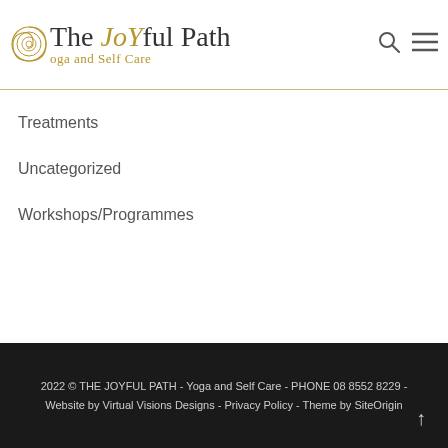[Figure (logo): The Joyful Path - Yoga and Self Care logo with golden spiral emblem and stylized text]
Treatments
Uncategorized
Workshops/Programmes
2022 © THE JOYFUL PATH - Yoga and Self Care - PHONE 08 8552 8229 - Website by Virtual Visions Designs - Privacy Policy - Theme by SiteOrigin